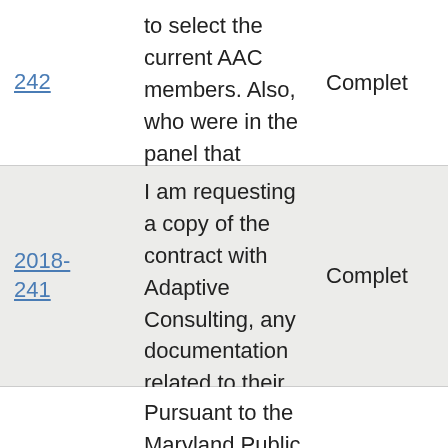| ID | Request | Status |
| --- | --- | --- |
| 242 | to select the current AAC members. Also, who were in the panel that selected the AAC members-- please disclose... | Complet |
| 2018-241 | I am requesting a copy of the contract with Adaptive Consulting, any documentation related to their legal status in the state of Maryland, and any emails between this company and the HCPSS... | Complet |
|  | Pursuant to the Maryland Public Information Act, I |  |